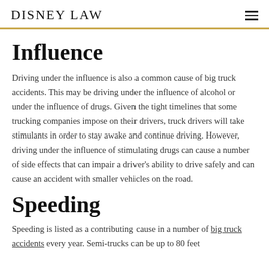DISNEY LAW
Influence
Driving under the influence is also a common cause of big truck accidents. This may be driving under the influence of alcohol or under the influence of drugs. Given the tight timelines that some trucking companies impose on their drivers, truck drivers will take stimulants in order to stay awake and continue driving. However, driving under the influence of stimulating drugs can cause a number of side effects that can impair a driver's ability to drive safely and can cause an accident with smaller vehicles on the road.
Speeding
Speeding is listed as a contributing cause in a number of big truck accidents every year. Semi-trucks can be up to 80 feet